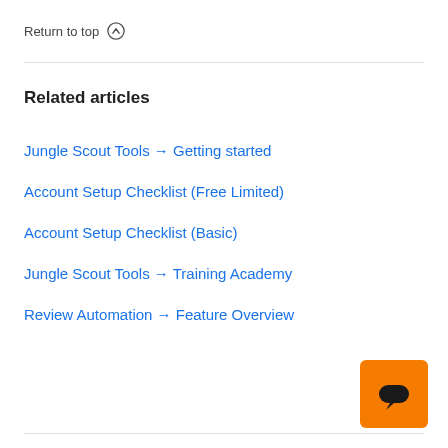Return to top ↑
Related articles
Jungle Scout Tools → Getting started
Account Setup Checklist (Free Limited)
Account Setup Checklist (Basic)
Jungle Scout Tools → Training Academy
Review Automation → Feature Overview
[Figure (illustration): Orange chat widget button with speech bubble icon]